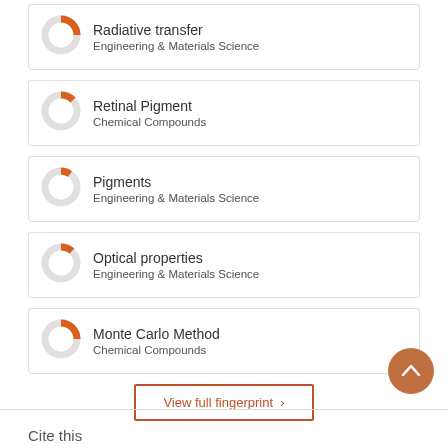Radiative transfer — Engineering & Materials Science
Retinal Pigment — Chemical Compounds
Pigments — Engineering & Materials Science
Optical properties — Engineering & Materials Science
Monte Carlo Method — Chemical Compounds
View full fingerprint >
Cite this